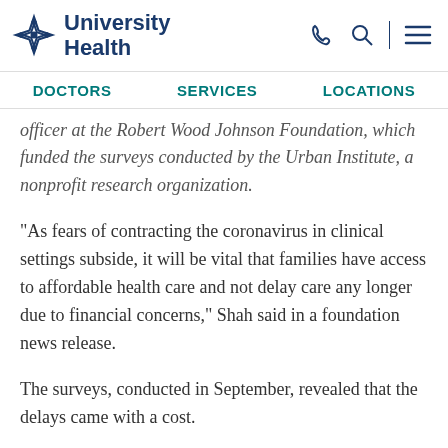University Health
DOCTORS | SERVICES | LOCATIONS
officer at the Robert Wood Johnson Foundation, which funded the surveys conducted by the Urban Institute, a nonprofit research organization.
"As fears of contracting the coronavirus in clinical settings subside, it will be vital that families have access to affordable health care and not delay care any longer due to financial concerns," Shah said in a foundation news release.
The surveys, conducted in September, revealed that the delays came with a cost.
A third of adults who said they had delayed or went without care reported that one or more of